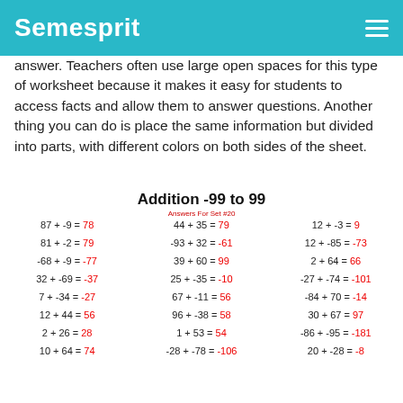Semesprit
answer. Teachers often use large open spaces for this type of worksheet because it makes it easy for students to access facts and allow them to answer questions. Another thing you can do is place the same information but divided into parts, with different colors on both sides of the sheet.
Addition -99 to 99
Answers For Set #20
| Col1 | Col2 | Col3 |
| --- | --- | --- |
| 87 + -9 = 78 | 44 + 35 = 79 | 12 + -3 = 9 |
| 81 + -2 = 79 | -93 + 32 = -61 | 12 + -85 = -73 |
| -68 + -9 = -77 | 39 + 60 = 99 | 2 + 64 = 66 |
| 32 + -69 = -37 | 25 + -35 = -10 | -27 + -74 = -101 |
| 7 + -34 = -27 | 67 + -11 = 56 | -84 + 70 = -14 |
| 12 + 44 = 56 | 96 + -38 = 58 | 30 + 67 = 97 |
| 2 + 26 = 28 | 1 + 53 = 54 | -86 + -95 = -181 |
| 10 + 64 = 74 | -28 + -78 = -106 | 20 + -28 = -8 |